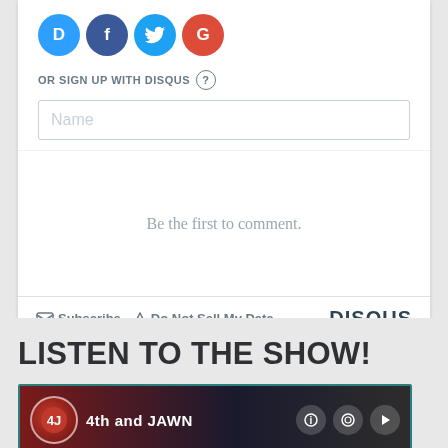[Figure (screenshot): Social login icons: Disqus (D), Facebook (f), Twitter bird, Google (G) in colored circles]
OR SIGN UP WITH DISQUS ?
[Figure (screenshot): Name input field placeholder]
Be the first to comment.
Subscribe  Do Not Sell My Data  DISQUS
LISTEN TO THE SHOW!
[Figure (screenshot): Podcast player card showing 4th and JAWN with teal border and dark gradient background]